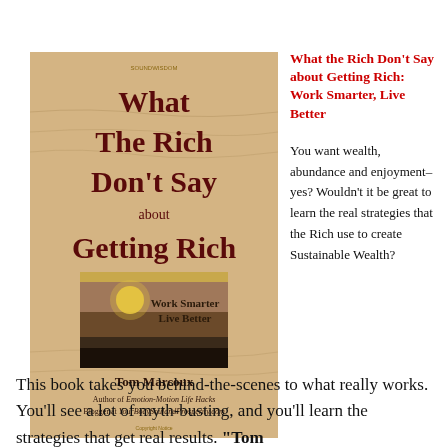[Figure (illustration): Book cover for 'What The Rich Don't Say about Getting Rich' by Tom Marcoux. Sandy desert dunes background with dark red serif title text. Features a sunset/ocean image in center. Subtitle: Work Smarter Live Better. Author: Tom Marcoux, Author of Emotion-Motion Life Hacks, Blogger at YourBodySoulandProsperity.com]
What the Rich Don't Say about Getting Rich: Work Smarter, Live Better
You want wealth, abundance and enjoyment–yes? Wouldn't it be great to learn the real strategies that the Rich use to create Sustainable Wealth?
This book takes you behind-the-scenes to what really works. You'll see a lot of myth-busting, and you'll learn the strategies that get real results. "Tom